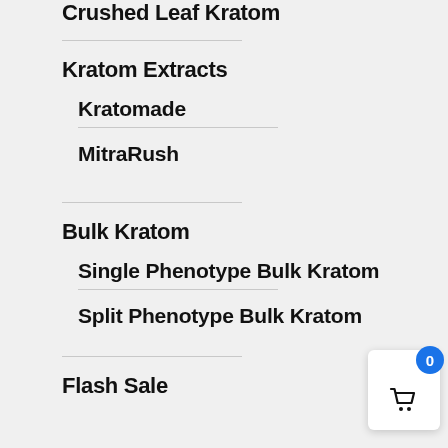Crushed Leaf Kratom
Kratom Extracts
Kratomade
MitraRush
Bulk Kratom
Single Phenotype Bulk Kratom
Split Phenotype Bulk Kratom
Flash Sale